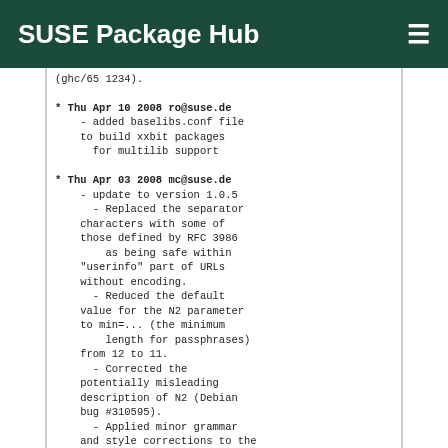SUSE Package Hub
* Thu Apr 10 2008 ro@suse.de
    - added baselibs.conf file
    to build xxbit packages
      for multilib support
* Thu Apr 03 2008 mc@suse.de
    - update to version 1.0.5
      - Replaced the separator
    characters with some of
    those defined by RFC 3986
        as being safe within
    "userinfo" part of URLs
    without encoding.
      - Reduced the default
    value for the N2 parameter
    to min=... (the minimum
        length for passphrases)
    from 12 to 11.
      - Corrected the
    potentially misleading
    description of N2 (Debian
    bug #310595).
      - Applied minor grammar
    and style corrections to the
    documentation, a
        pam_passwdqc message,
    and source code comments.
      - Changed Makefile to pass
    list of libraries to linker
    after regular
        object files, to fix